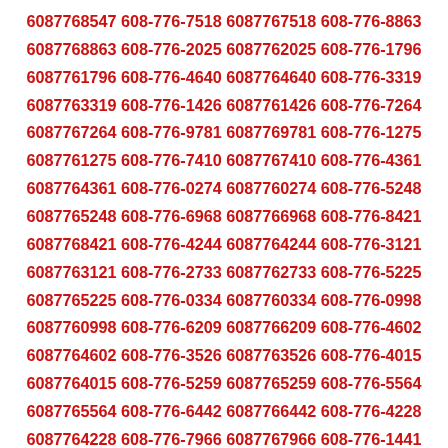6087768547 608-776-7518 6087767518 608-776-8863 6087768863 608-776-2025 6087762025 608-776-1796 6087761796 608-776-4640 6087764640 608-776-3319 6087763319 608-776-1426 6087761426 608-776-7264 6087767264 608-776-9781 6087769781 608-776-1275 6087761275 608-776-7410 6087767410 608-776-4361 6087764361 608-776-0274 6087760274 608-776-5248 6087765248 608-776-6968 6087766968 608-776-8421 6087768421 608-776-4244 6087764244 608-776-3121 6087763121 608-776-2733 6087762733 608-776-5225 6087765225 608-776-0334 6087760334 608-776-0998 6087760998 608-776-6209 6087766209 608-776-4602 6087764602 608-776-3526 6087763526 608-776-4015 6087764015 608-776-5259 6087765259 608-776-5564 6087765564 608-776-6442 6087766442 608-776-4228 6087764228 608-776-7966 6087767966 608-776-1441 6087761441 608-776-4419 6087764419 608-776-4538 6087764538 608-776-5023 6087765023 608-776-4349 6087764349 608-776-8956 6087768956 608-776-6349 6087766349 608-776-3392 6087763392 608-776-1872 6087761872 608-776-3232 6087763232 608-776-2793 6087762793 608-776-7885 6087767885 608-776-4636 6087764636 608-776-7476 6087767476 608-776-8376 6087768376 608-776-1679 6087761679 608-776-8473 6087768473 608-776-4783 6087764783 608-776-8031